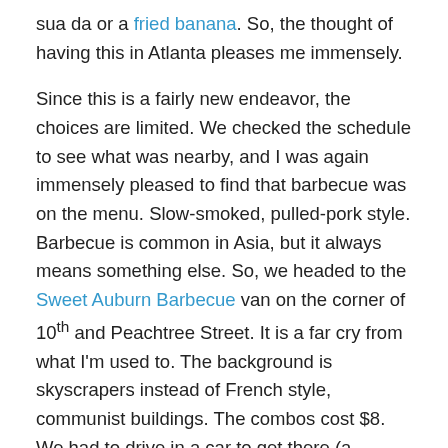sua da or a fried banana. So, the thought of having this in Atlanta pleases me immensely.
Since this is a fairly new endeavor, the choices are limited. We checked the schedule to see what was nearby, and I was again immensely pleased to find that barbecue was on the menu. Slow-smoked, pulled-pork style. Barbecue is common in Asia, but it always means something else. So, we headed to the Sweet Auburn Barbecue van on the corner of 10th and Peachtree Street. It is a far cry from what I'm used to. The background is skyscrapers instead of French style, communist buildings. The combos cost $8. We had to drive in a car to get there (a hybrid, no less.) And, most of the other customers were in some sort of business-wear. No pajamas, flip-flops, or cone hats to be seen.